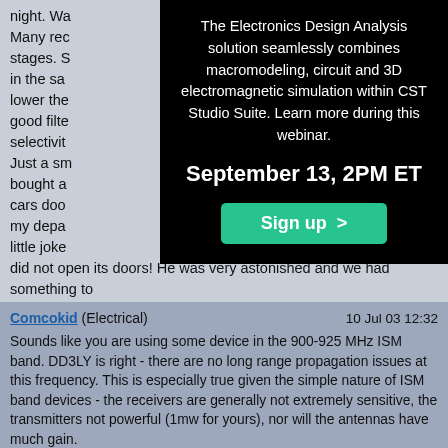night. Wa... this. Many rec... d input stages. S... erating in the sa... it will lower the... using good filte... selectivit... Just a sm... with me bought a... pen the cars doo... ly from my depa... ake a little joke... The car did not open its doors! He was very astonished and we had something to smile about.
[Figure (infographic): Black popup overlay with text: 'The Electronics Design Analysis solution seamlessly combines macromodeling, circuit and 3D electromagnetic simulation within CST Studio Suite. Learn more during this webinar.' Date: September 13, 2PM ET. Green Sign up button.]
Comcokid (Electrical)   10 Jul 03 12:32
Sounds like you are using some device in the 900-925 MHz ISM band. DD3LY is right - there are no long range propagation issues at this frequency. This is especially true given the simple nature of ISM band devices - the receivers are generally not extremely sensitive, the transmitters not powerful (1mw for yours), nor will the antennas have much gain.

Common interference at this frequency is from cell phone towers in the 800-890 MHz range, 930-950MHz range, and cordless phones which share the same band.